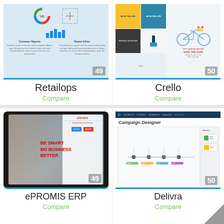[Figure (screenshot): Retailops software screenshot showing customer reports and report editor features with icons and text, numbered 49]
Retailops
Compare
[Figure (screenshot): Crello design software screenshot showing colorful graphic design templates with bicycle illustration, numbered 50]
Crello
Compare
[Figure (screenshot): ePROMIS ERP tablet mockup showing 'Be Smart Do Business Better' marketing image on tablet, numbered 49]
ePROMIS ERP
Compare
[Figure (screenshot): Delivra campaign designer software interface showing campaign designer with navigation bar and sidebar, numbered 50]
Delivra
Compare